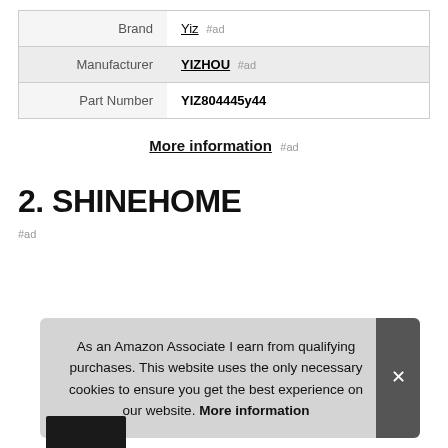|  |  |
| --- | --- |
| Brand | Yiz #ad |
| Manufacturer | YIZHOU #ad |
| Part Number | YIZ804445y44 |
More information #ad
2. SHINEHOME
#ad
As an Amazon Associate I earn from qualifying purchases. This website uses the only necessary cookies to ensure you get the best experience on our website. More information